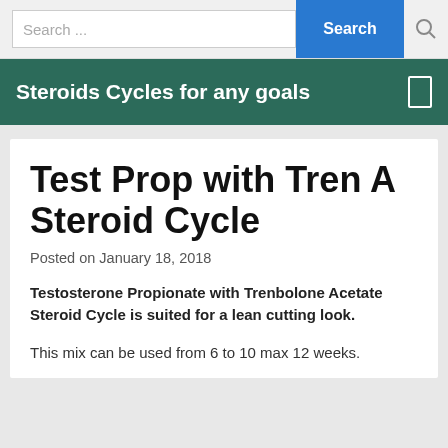Search ...  Search
Steroids Cycles for any goals
Test Prop with Tren A Steroid Cycle
Posted on January 18, 2018
Testosterone Propionate with Trenbolone Acetate Steroid Cycle is suited for a lean cutting look.
This mix can be used from 6 to 10 max 12 weeks.